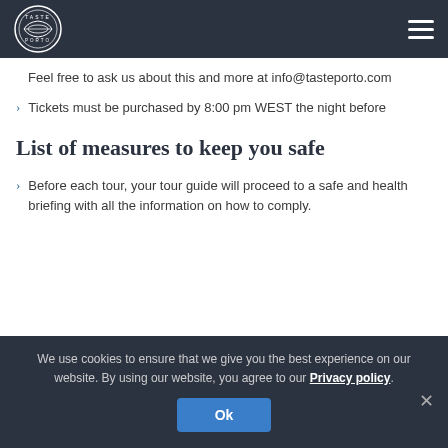Taste Porto logo and navigation header
Feel free to ask us about this and more at info@tasteporto.com
Tickets must be purchased by 8:00 pm WEST the night before
List of measures to keep you safe
Before each tour, your tour guide will proceed to a safe and health briefing with all the information on how to comply.
We use cookies to ensure that we give you the best experience on our website. By using our website, you agree to our Privacy policy.
Ok